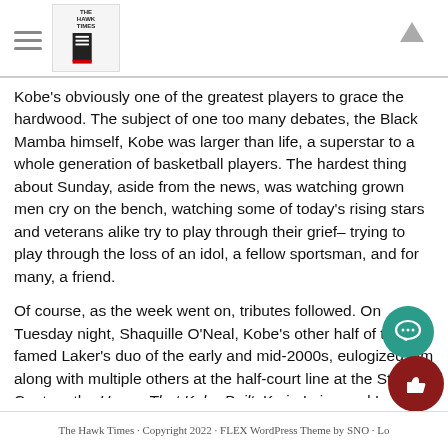The Hawk Times — navigation header with logo and scroll-to-top arrow
Kobe's obviously one of the greatest players to grace the hardwood. The subject of one too many debates, the Black Mamba himself, Kobe was larger than life, a superstar to a whole generation of basketball players. The hardest thing about Sunday, aside from the news, was watching grown men cry on the bench, watching some of today's rising stars and veterans alike try to play through their grief– trying to play through the loss of an idol, a fellow sportsman, and for many, a friend.
Of course, as the week went on, tributes followed. On Tuesday night, Shaquille O'Neal, Kobe's other half of the famed Laker's duo of the early and mid-2000s, eulogized him along with multiple others at the half-court line at the Staple's Center– the House That Kobe Built. Kyrie Irving and Lebron James, Demar Derozan and Dwayne Wade, and countless other players spoke to the press or posted on social media about the passing of Kobe Bryant.
The Hawk Times · Copyright 2022 · FLEX WordPress Theme by SNO · Lo